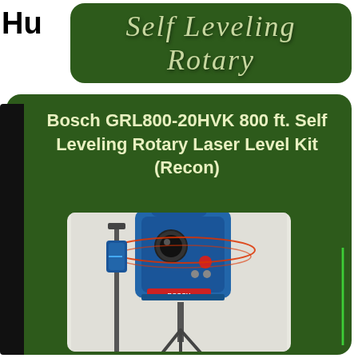Hu
Self Leveling Rotary
Bosch GRL800-20HVK 800 ft. Self Leveling Rotary Laser Level Kit (Recon)
[Figure (photo): Bosch GRL800-20HVK rotary laser level kit shown on a light background, including the blue laser unit, tripod stand, and accessories. Red laser beams shown rotating around the unit.]